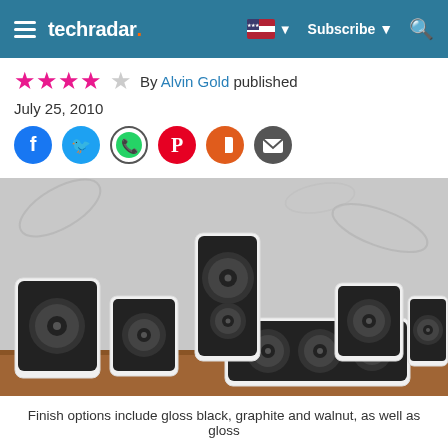techradar — Subscribe — Search
★★★★☆ By Alvin Gold published
July 25, 2010
[Figure (infographic): Social sharing icons: Facebook, Twitter, WhatsApp, Pinterest, Flipboard, Email]
[Figure (photo): White gloss speaker system with multiple satellite speakers and a center channel speaker arranged on a wooden surface against a grey floral wallpaper background.]
Finish options include gloss black, graphite and walnut, as well as gloss